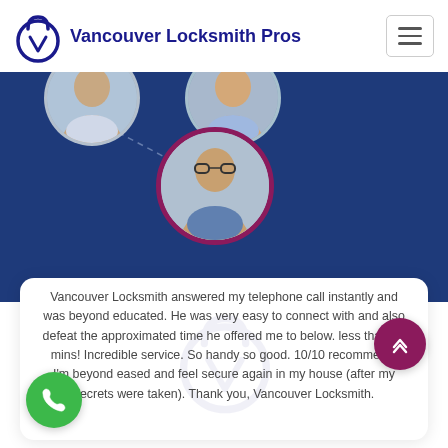Vancouver Locksmith Pros
[Figure (photo): Blue background section with three circular portrait photos of people connected by dashed lines. A featured circular portrait with maroon border is centered.]
Vancouver Locksmith answered my telephone call instantly and was beyond educated. He was very easy to connect with and also defeat the approximated time he offered me to below. less than 20 mins! Incredible service. So handy so good. 10/10 recommend. I'm beyond eased and feel secure again in my house (after my secrets were taken). Thank you, Vancouver Locksmith.